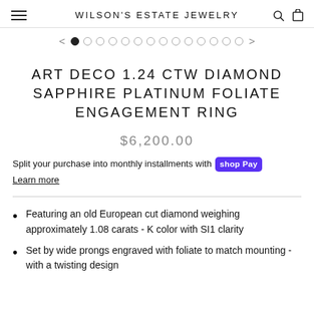WILSON'S ESTATE JEWELRY
ART DECO 1.24 CTW DIAMOND SAPPHIRE PLATINUM FOLIATE ENGAGEMENT RING
$6,200.00
Split your purchase into monthly installments with shop Pay
Learn more
Featuring an old European cut diamond weighing approximately 1.08 carats - K color with SI1 clarity
Set by wide prongs engraved with foliate to match mounting - with a twisting design